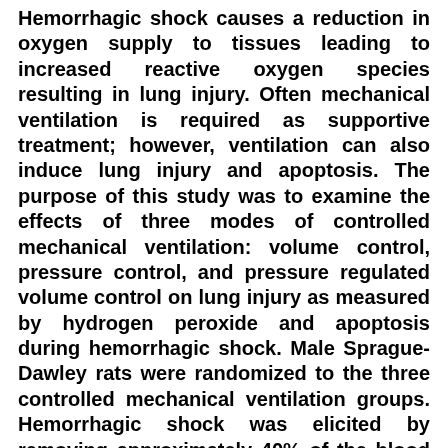Hemorrhagic shock causes a reduction in oxygen supply to tissues leading to increased reactive oxygen species resulting in lung injury. Often mechanical ventilation is required as supportive treatment; however, ventilation can also induce lung injury and apoptosis. The purpose of this study was to examine the effects of three modes of controlled mechanical ventilation: volume control, pressure control, and pressure regulated volume control on lung injury as measured by hydrogen peroxide and apoptosis during hemorrhagic shock. Male Sprague-Dawley rats were randomized to the three controlled mechanical ventilation groups. Hemorrhagic shock was elicited by removing approximately 40% of the blood volume over 30 minutes. The rats were treated with one of three modes of mechanical ventilation with 40% oxygen for 60 minutes. The lungs were removed and measured for hydrogen peroxide and apoptosis based on nuclear differential dye uptake. There were no significant differences in hemodynamics, arterial blood values, peak inspiratory pressures, tidal volume, respiratory rates, and intrathoracic pressures across three groups. However, lung hydrogen peroxide production and apoptosis were significantly increased